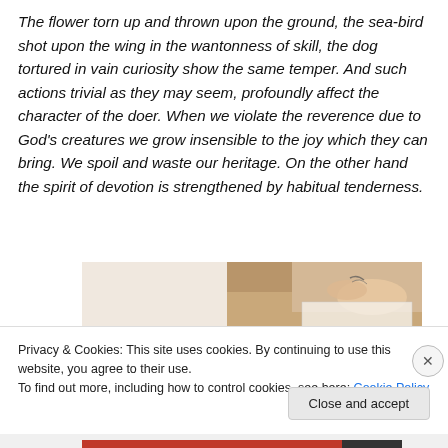The flower torn up and thrown upon the ground, the sea-bird shot upon the wing in the wantonness of skill, the dog tortured in vain curiosity show the same temper. And such actions trivial as they may seem, profoundly affect the character of the doer. When we violate the reverence due to God's creatures we grow insensible to the joy which they can bring. We spoil and waste our heritage. On the other hand the spirit of devotion is strengthened by habitual tenderness.
[Figure (photo): Partial view of a person's hands working at a desk, visible on right half; left half is a light beige/cream background. Image is partially obscured by a cookie consent banner.]
Privacy & Cookies: This site uses cookies. By continuing to use this website, you agree to their use.
To find out more, including how to control cookies, see here: Cookie Policy
Close and accept